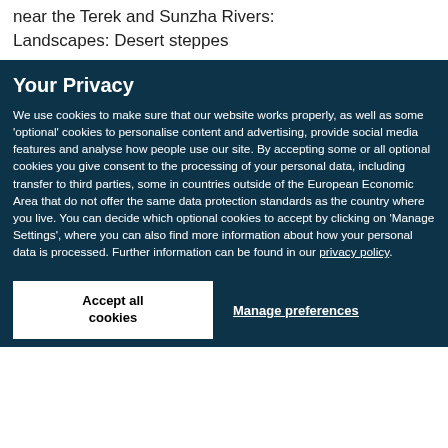Terek Sunzha natural focus of plague (62) near the Terek and Sunzha Rivers: Landscapes: Desert steppes
Your Privacy
We use cookies to make sure that our website works properly, as well as some 'optional' cookies to personalise content and advertising, provide social media features and analyse how people use our site. By accepting some or all optional cookies you give consent to the processing of your personal data, including transfer to third parties, some in countries outside of the European Economic Area that do not offer the same data protection standards as the country where you live. You can decide which optional cookies to accept by clicking on 'Manage Settings', where you can also find more information about how your personal data is processed. Further information can be found in our privacy policy.
Accept all cookies
Manage preferences